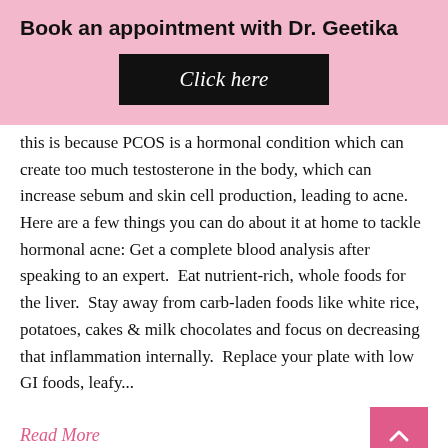Book an appointment with Dr. Geetika
[Figure (other): Black button with italic text 'Click here']
this is because PCOS is a hormonal condition which can create too much testosterone in the body, which can increase sebum and skin cell production, leading to acne.  Here are a few things you can do about it at home to tackle hormonal acne: Get a complete blood analysis after speaking to an expert.  Eat nutrient-rich, whole foods for the liver.  Stay away from carb-laden foods like white rice, potatoes, cakes & milk chocolates and focus on decreasing that inflammation internally.  Replace your plate with low GI foods, leafy...
Read More
0   0   93
[Figure (other): WhatsApp us button with green WhatsApp icon in a pill-shaped bubble]